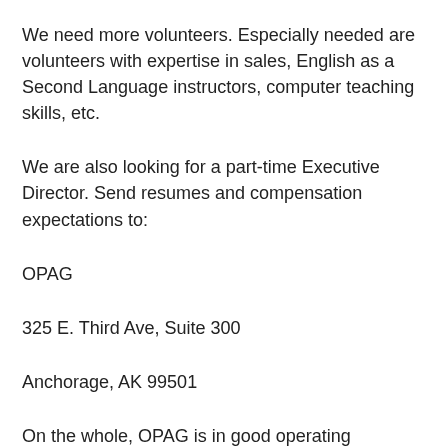We need more volunteers. Especially needed are volunteers with expertise in sales, English as a Second Language instructors, computer teaching skills, etc.
We are also looking for a part-time Executive Director. Send resumes and compensation expectations to:
OPAG
325 E. Third Ave, Suite 300
Anchorage, AK 99501
On the whole, OPAG is in good operating condition and will continue offering the Senior Maintenance...